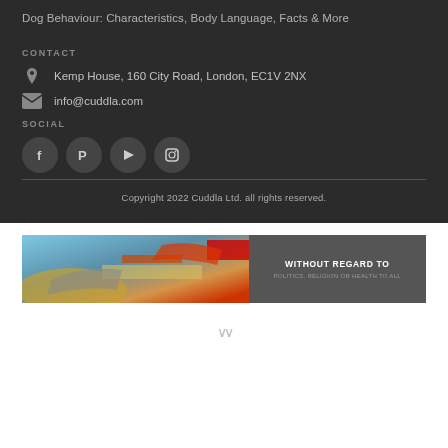Dog Behaviour: Characteristics, Body Language, Facts & More
CONTACT
Kemp House, 160 City Road, London, EC1V 2NX
info@cuddla.com
SOCIAL
[Figure (illustration): Social media icons: Facebook, Pinterest, YouTube, Instagram]
Copyright 2022 Cuddla Ltd. all rights reserved.
[Figure (photo): Advertisement banner showing airplane cargo loading with text WITHOUT REGARD TO POLITICS, RELIGION OR HEALTH TO ALL]